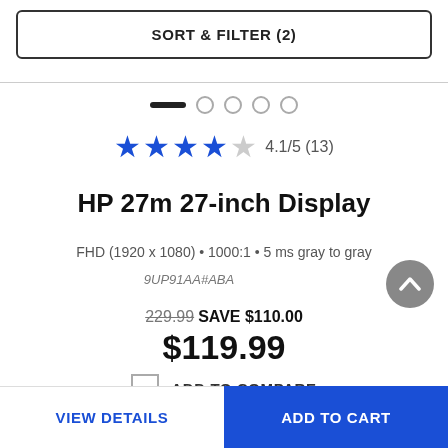SORT & FILTER (2)
[Figure (other): Carousel indicator: one active (dark pill) and four inactive (outlined circles)]
4.1/5 (13)
HP 27m 27-inch Display
FHD (1920 x 1080) • 1000:1 • 5 ms gray to gray
9UP91AA#ABA
229.99 SAVE $110.00 $119.99
ADD TO COMPARE
VIEW DETAILS
ADD TO CART